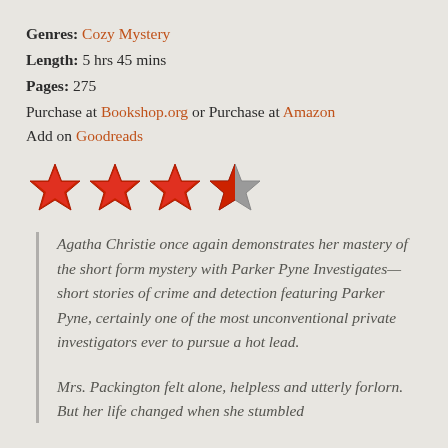Genres: Cozy Mystery
Length: 5 hrs 45 mins
Pages: 275
Purchase at Bookshop.org or Purchase at Amazon
Add on Goodreads
[Figure (other): 3.5 out of 5 star rating shown as four stars: three red filled stars and one half-grey star]
Agatha Christie once again demonstrates her mastery of the short form mystery with Parker Pyne Investigates—short stories of crime and detection featuring Parker Pyne, certainly one of the most unconventional private investigators ever to pursue a hot lead.
Mrs. Packington felt alone, helpless and utterly forlorn. But her life changed when she stumbled